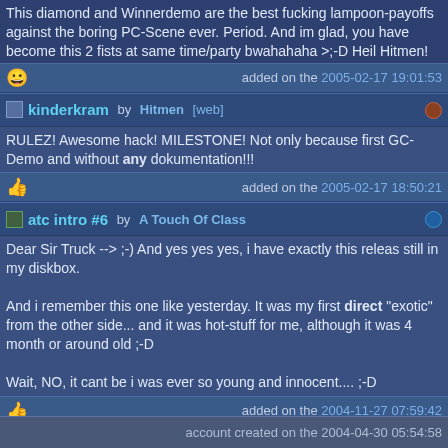This diamond and Winnerdemo are the best fucking lampoon-payoffs against the boring PC-Scene ever. Period. And im glad, you have become this 2 fists at same time/party bwahahaha >;-D Heil Hitmen!
added on the 2005-02-17 19:01:53
kinderkram by Hitmen [web]
RULEZ! Awesome hack! MILESTONE! Not only because first GC-Demo and without any dokumentation!!!
added on the 2005-02-17 18:50:21
atc intro #6 by A Touch Of Class
Dear Sir Truck --> ;-) And yes yes yes, i have exactly this releas still in my diskbox.

And i remember this one like yesterday. It was my first direct "exotic" from the other side... and it was hot-stuff for me, although it was 4 month or around old ;-D

Wait, NO, it cant be i was ever so young and innocent.... ;-D
added on the 2004-11-27 07:59:42
next page
go to page 1 of 2 Submit
account created on the 2004-04-30 05:54:58